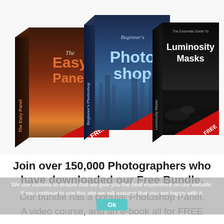[Figure (illustration): Three 3D product box mockups side by side on white background. Left box: 'The Easy Panel' with dark sunset beach photo, orange/red text, red FREE banner. Center box: 'Beginner's Photoshop' with blue skyscraper photo, light blue text, red FREE banner. Right box: 'The Essential Guide To Luminosity Masks' with dark coastal/rock photo, white text, red FREE banner.]
Join over 150,000 Photographers who have downloaded our Free Bundle.
We use cookies to ensure that we give you the best experience on our website. If you continue to use this site we will assume that you are happy with it.
Our bundle has a popular Photoshop Panel, A video course, and an e-book all for FREE